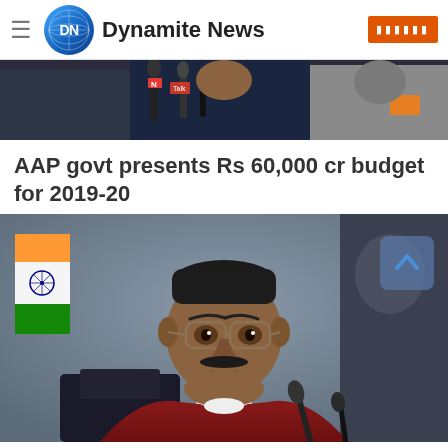Dynamite News
[Figure (photo): Press conference scene with microphones and people in the background]
AAP govt presents Rs 60,000 cr budget for 2019-20
[Figure (photo): Arvind Kejriwal seated at a press conference table wearing a dark red sweater, with Indian flag in background and a scroll-up arrow button overlay]